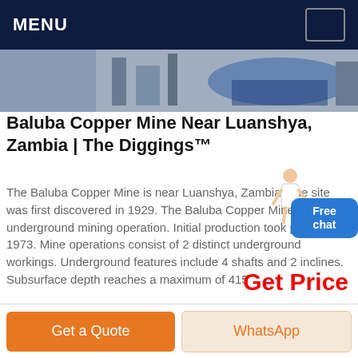MENU
[Figure (photo): Partial view of industrial mining equipment and structures, photograph strip]
Baluba Copper Mine Near Luanshya, Zambia | The Diggings™
The Baluba Copper Mine is near Luanshya, Zambia. The site was first discovered in 1929. The Baluba Copper Mine is a underground mining operation. Initial production took place in 1973. Mine operations consist of 2 distinct underground workings. Underground features include 4 shafts and 2 inclines. Subsurface depth reaches a maximum of 415
Get Price
Get a Quote
WhatsApp